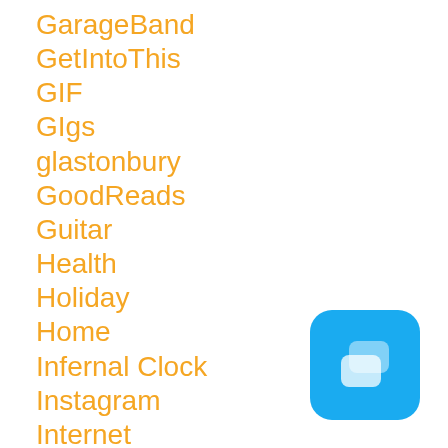GarageBand
GetIntoThis
GIF
GIgs
glastonbury
GoodReads
Guitar
Health
Holiday
Home
Infernal Clock
Instagram
Internet
Jaipur
Job
judging
[Figure (logo): Blue rounded square icon with two overlapping speech bubble shapes in light blue/white]